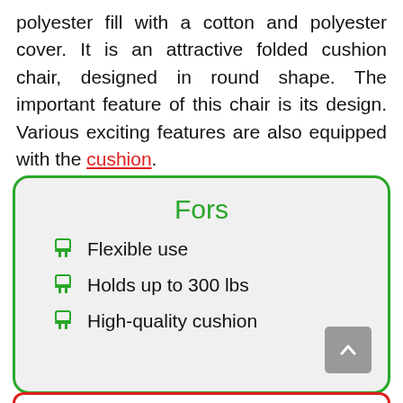polyester fill with a cotton and polyester cover. It is an attractive folded cushion chair, designed in round shape. The important feature of this chair is its design. Various exciting features are also equipped with the cushion.
Fors
Flexible use
Holds up to 300 lbs
High-quality cushion